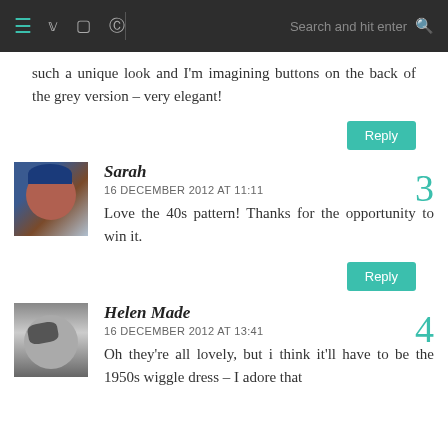Navigation bar with hamburger menu, social icons (twitter, instagram, pinterest), search field
such a unique look and I'm imagining buttons on the back of the grey version – very elegant!
Reply
Sarah
16 DECEMBER 2012 AT 11:11
Love the 40s pattern! Thanks for the opportunity to win it.
[3]
Reply
Helen Made
16 DECEMBER 2012 AT 13:41
Oh they're all lovely, but i think it'll have to be the 1950s wiggle dress – I adore that
[4]